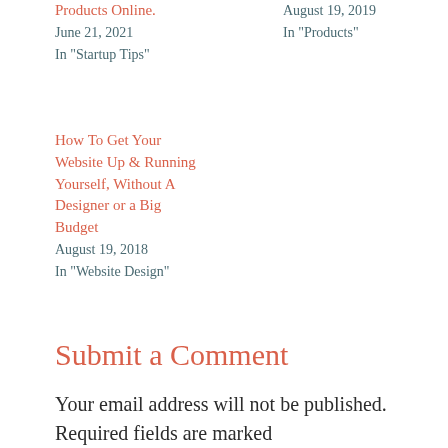Products Online.
June 21, 2021
In "Startup Tips"
August 19, 2019
In "Products"
How To Get Your Website Up & Running Yourself, Without A Designer or a Big Budget
August 19, 2018
In "Website Design"
Submit a Comment
Your email address will not be published. Required fields are marked